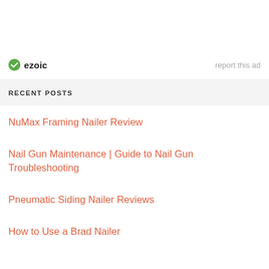[Figure (logo): Ezoic logo with green circle checkmark icon and bold text 'ezoic', with 'report this ad' text on the right]
RECENT POSTS
NuMax Framing Nailer Review
Nail Gun Maintenance | Guide to Nail Gun Troubleshooting
Pneumatic Siding Nailer Reviews
How to Use a Brad Nailer